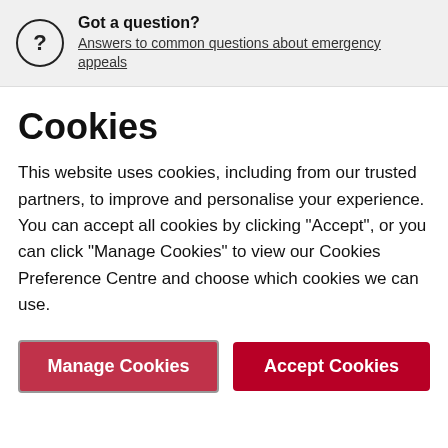Got a question? Answers to common questions about emergency appeals
Cookies
This website uses cookies, including from our trusted partners, to improve and personalise your experience. You can accept all cookies by clicking "Accept", or you can click "Manage Cookies" to view our Cookies Preference Centre and choose which cookies we can use.
Manage Cookies | Accept Cookies